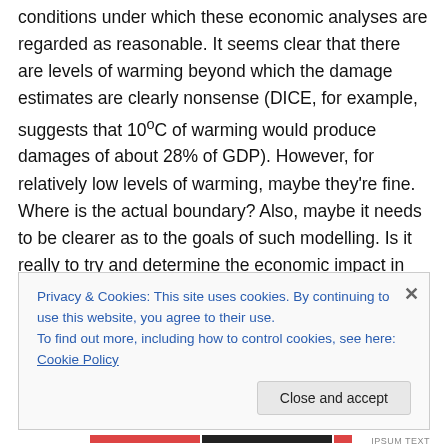conditions under which these economic analyses are regarded as reasonable. It seems clear that there are levels of warming beyond which the damage estimates are clearly nonsense (DICE, for example, suggests that 10°C of warming would produce damages of about 28% of GDP). However, for relatively low levels of warming, maybe they're fine. Where is the actual boundary? Also, maybe it needs to be clearer as to the goals of such modelling. Is it really to try and determine the economic impact in 2100, or is it mostly to guide what we do in the next decade, or so?
Privacy & Cookies: This site uses cookies. By continuing to use this website, you agree to their use.
To find out more, including how to control cookies, see here: Cookie Policy
[Close and accept]